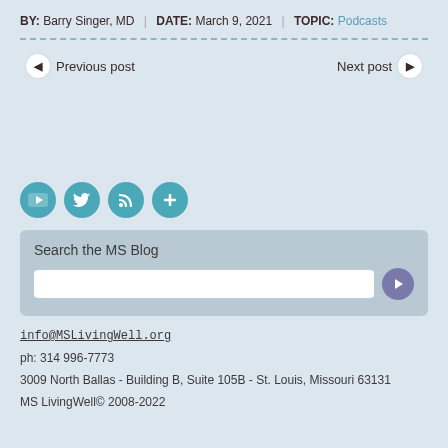BY: Barry Singer, MD | DATE: March 9, 2021 | TOPIC: Podcasts
Previous post
Next post
[Figure (infographic): Four social media icon buttons: YouTube, Twitter, RSS, and a plus/more icon, each as teal circles with white icons.]
Search the MS Blog
info@MSLivingWell.org
ph: 314 996-7773
3009 North Ballas - Building B, Suite 105B - St. Louis, Missouri 63131
MS LivingWell© 2008-2022